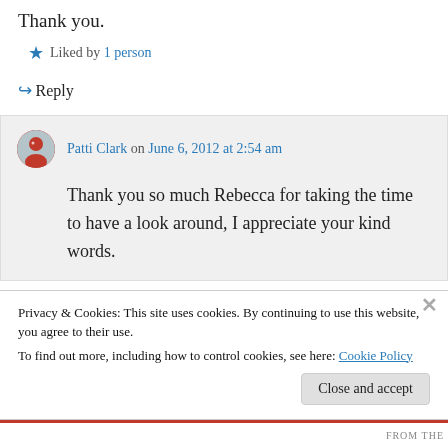Thank you.
★ Liked by 1 person
↪ Reply
Patti Clark on June 6, 2012 at 2:54 am
Thank you so much Rebecca for taking the time to have a look around, I appreciate your kind words.
Privacy & Cookies: This site uses cookies. By continuing to use this website, you agree to their use.
To find out more, including how to control cookies, see here: Cookie Policy
Close and accept